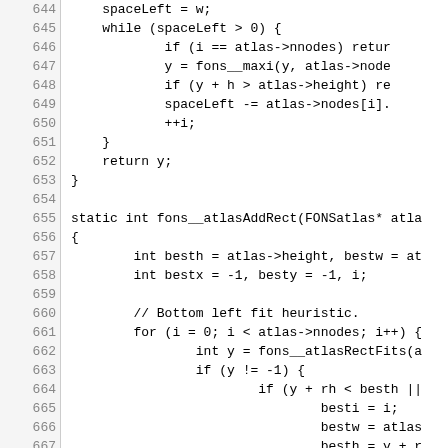[Figure (screenshot): Source code listing in C showing lines 644-673, displaying functions for atlas rectangle fitting including fons__atlasAddRect with bottom-left fit heuristic logic.]